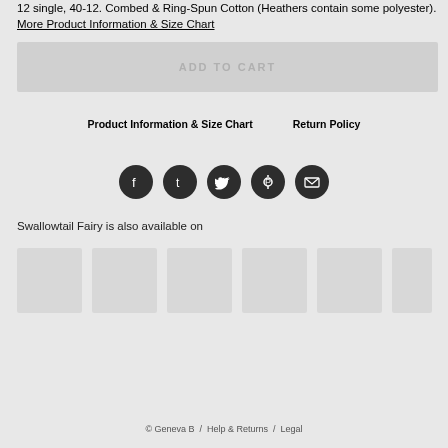12 single, 40-12. Combed & Ring-Spun Cotton (Heathers contain some polyester). More Product Information & Size Chart
ADD TO CART
Product Information & Size Chart    Return Policy
[Figure (infographic): Five circular dark social media share icons: Facebook, Tumblr, Twitter, Pinterest, Email]
Swallowtail Fairy is also available on
[Figure (other): Six product thumbnail placeholder images in a horizontal row]
© Geneva B  /  Help & Returns  /  Legal